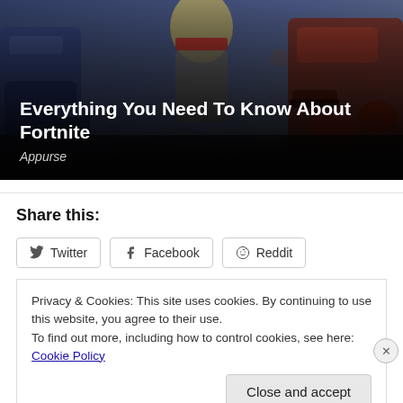[Figure (photo): Hero banner image showing Fortnite game characters with colorful clothing, partially obscured by dark overlay. Two characters visible — one in blue on the left, one in red/orange on the right, with a third character in the center background with blonde hair.]
Everything You Need To Know About Fortnite
Appurse
Share this:
Twitter  Facebook  Reddit
Privacy & Cookies: This site uses cookies. By continuing to use this website, you agree to their use.
To find out more, including how to control cookies, see here: Cookie Policy
Close and accept